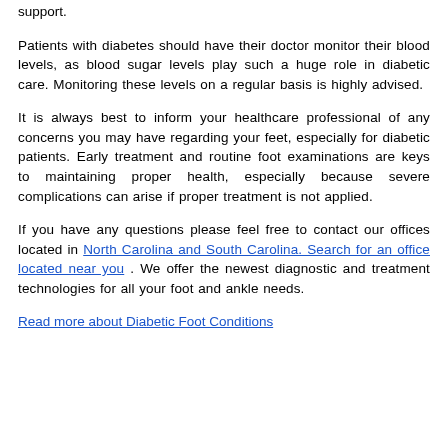support.
Patients with diabetes should have their doctor monitor their blood levels, as blood sugar levels play such a huge role in diabetic care. Monitoring these levels on a regular basis is highly advised.
It is always best to inform your healthcare professional of any concerns you may have regarding your feet, especially for diabetic patients. Early treatment and routine foot examinations are keys to maintaining proper health, especially because severe complications can arise if proper treatment is not applied.
If you have any questions please feel free to contact our offices located in North Carolina and South Carolina. Search for an office located near you . We offer the newest diagnostic and treatment technologies for all your foot and ankle needs.
Read more about Diabetic Foot Conditions